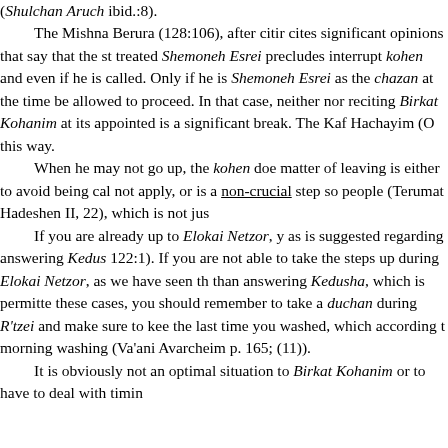(Shulchan Aruch ibid.:8). The Mishna Berura (128:106), after citing cites significant opinions that say that the still-treated Shemoneh Esrei precludes interruption kohen and even if he is called. Only if he is Shemoneh Esrei as the chazan at the time of be allowed to proceed. In that case, neither nor reciting Birkat Kohanim at its appointed is a significant break. The Kaf Hachayim (O this way. When he may not go up, the kohen does matter of leaving is either to avoid being called not apply, or is a non-crucial step so people (Terumat Hadeshen II, 22), which is not just If you are already up to Elokai Netzor, you as is suggested regarding answering Kedusha 122:1). If you are not able to take the steps up during Elokai Netzor, as we have seen th than answering Kedusha, which is permitted these cases, you should remember to take a duchan during R'tzei and make sure to keep the last time you washed, which according t morning washing (Va'ani Avarcheim p. 165; (11)). It is obviously not an optimal situation to Birkat Kohanim or to have to deal with timin